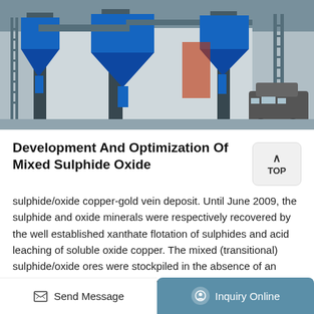[Figure (photo): Industrial processing equipment — large blue metal structures with hoppers, pipes, conveyors, and support frames inside a warehouse-like building. A car is partially visible on the right side.]
Development And Optimization Of Mixed Sulphide Oxide
sulphide/oxide copper-gold vein deposit. Until June 2009, the sulphide and oxide minerals were respectively recovered by the well established xanthate flotation of sulphides and acid leaching of soluble oxide copper. The mixed (transitional) sulphide/oxide ores were stockpiled in the absence of an economic processing route due to their poor